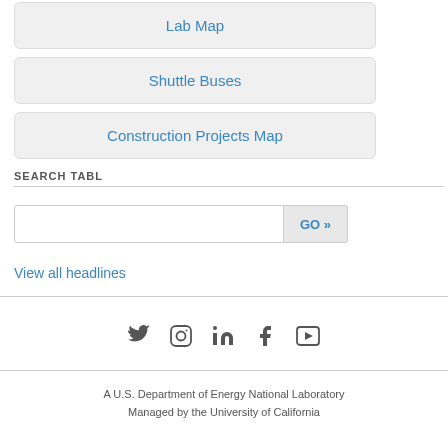Lab Map
Shuttle Buses
Construction Projects Map
SEARCH TABL
[Figure (screenshot): Search text input field with GO button]
View all headlines
[Figure (infographic): Social media icons: Twitter, Instagram, LinkedIn, Facebook, YouTube]
A U.S. Department of Energy National Laboratory
Managed by the University of California